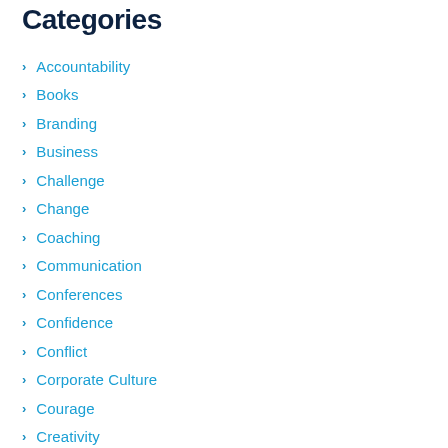Categories
Accountability
Books
Branding
Business
Challenge
Change
Coaching
Communication
Conferences
Confidence
Conflict
Corporate Culture
Courage
Creativity
Credit Unions